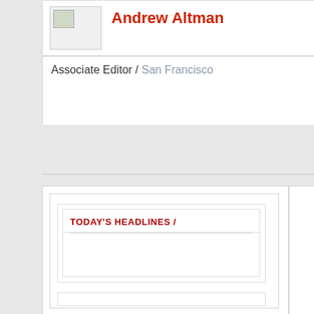Andrew Altman
Associate Editor / San Francisco
TODAY'S HEADLINES /